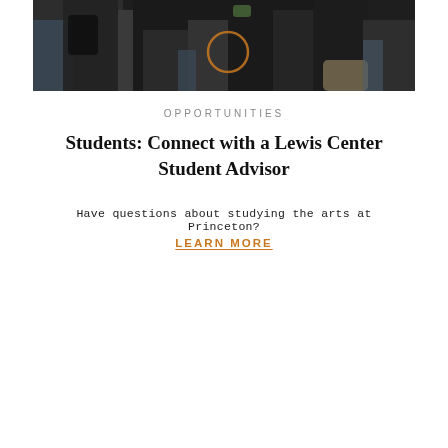[Figure (photo): A group of students sitting and standing, carrying backpacks and bags, in a dimly lit indoor setting. An orange circle highlight is visible in the center of the image.]
OPPORTUNITIES
Students: Connect with a Lewis Center Student Advisor
Have questions about studying the arts at Princeton?
LEARN MORE